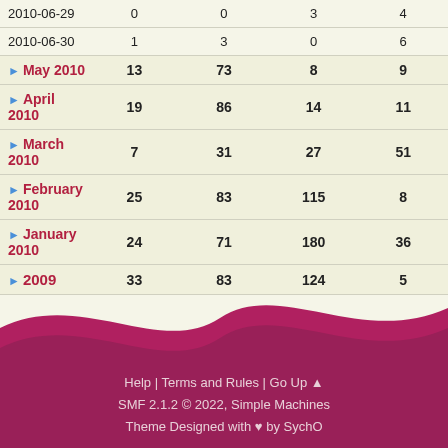| 2010-06-29 | 0 | 0 | 3 | 4 |
| 2010-06-30 | 1 | 3 | 0 | 6 |
| ▶ May 2010 | 13 | 73 | 8 | 9 |
| ▶ April 2010 | 19 | 86 | 14 | 11 |
| ▶ March 2010 | 7 | 31 | 27 | 51 |
| ▶ February 2010 | 25 | 83 | 115 | 8 |
| ▶ January 2010 | 24 | 71 | 180 | 36 |
| ▶ 2009 | 33 | 83 | 124 | 5 |
Help | Terms and Rules | Go Up ▲
SMF 2.1.2 © 2022, Simple Machines
Theme Designed with ♥ by SychO